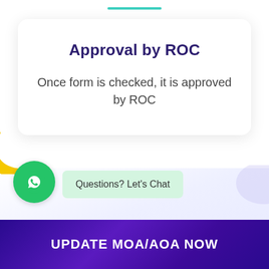Approval by ROC
Once form is checked, it is approved by ROC
Questions? Let's Chat
UPDATE MOA/AOA NOW